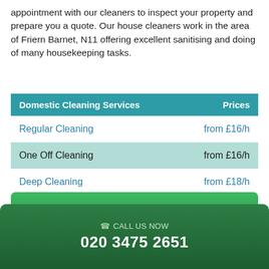appointment with our cleaners to inspect your property and prepare you a quote. Our house cleaners work in the area of Friern Barnet, N11 offering excellent sanitising and doing of many housekeeping tasks.
| Domestic Cleaning Services | Prices |
| --- | --- |
| Regular Cleaning | from £16/h |
| One Off Cleaning | from £16/h |
| Deep Cleaning | from £18/h |
CALL US NOW!
CALL US NOW
020 3475 2651